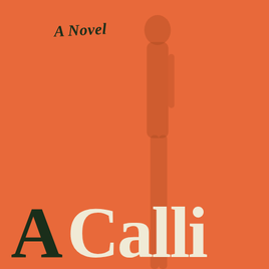[Figure (illustration): Book cover with orange background and a shadow/silhouette of a figure in the center-right area]
A Novel
A Calli